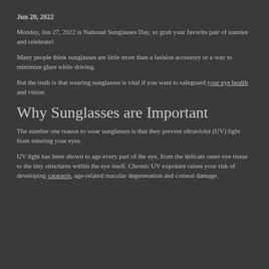Jun 20, 2022
Monday, Jun 27, 2022 is National Sunglasses Day, so grab your favorite pair of sunnies and celebrate!
Many people think sunglasses are little more than a fashion accessory or a way to minimize glare while driving.
But the truth is that wearing sunglasses is vital if you want to safeguard your eye health and vision.
Why Sunglasses are Important
The number one reason to wear sunglasses is that they prevent ultraviolet (UV) light from entering your eyes.
UV light has been shown to age every part of the eye, from the delicate outer eye tissue to the tiny structures within the eye itself. Chronic UV exposure raises your risk of developing cataracts, age-related macular degeneration and corneal damage.